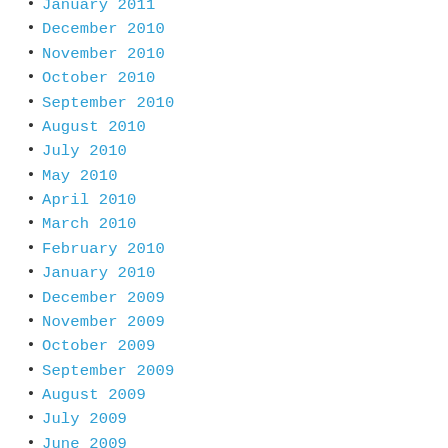January 2011
December 2010
November 2010
October 2010
September 2010
August 2010
July 2010
May 2010
April 2010
March 2010
February 2010
January 2010
December 2009
November 2009
October 2009
September 2009
August 2009
July 2009
June 2009
May 2009
April 2009
March 2009
February 2009
January 2009
December 2008
November 2008